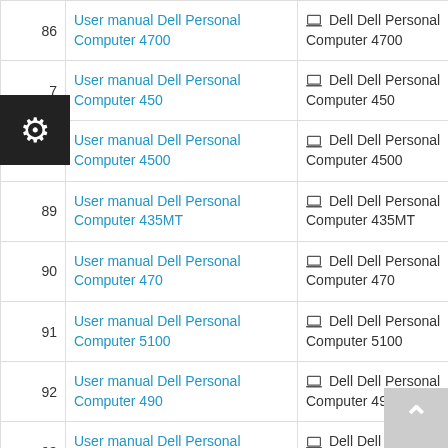| # | Manual | Device |
| --- | --- | --- |
| 86 | User manual Dell Personal Computer 4700 | Dell Dell Personal Computer 4700 |
| 87 | User manual Dell Personal Computer 450 | Dell Dell Personal Computer 450 |
| 88 | User manual Dell Personal Computer 4500 | Dell Dell Personal Computer 4500 |
| 89 | User manual Dell Personal Computer 435MT | Dell Dell Personal Computer 435MT |
| 90 | User manual Dell Personal Computer 470 | Dell Dell Personal Computer 470 |
| 91 | User manual Dell Personal Computer 5100 | Dell Dell Personal Computer 5100 |
| 92 | User manual Dell Personal Computer 490 | Dell Dell Personal Computer 490 |
| 93 | User manual Dell Personal Computer 5150 | Dell Dell Personal Computer 5150 |